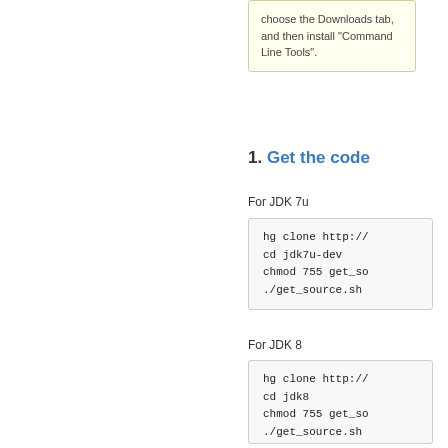choose the Downloads tab, and then install "Command Line Tools".
1. Get the code
For JDK 7u
hg clone http://
cd jdk7u-dev
chmod 755 get_so
./get_source.sh
For JDK 8
hg clone http://
cd jdk8
chmod 755 get_so
./get_source.sh